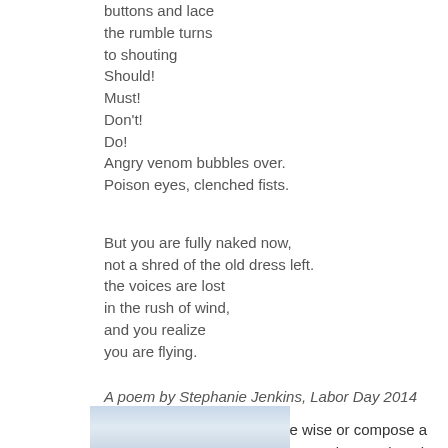buttons and lace
the rumble turns
to shouting
Should!
Must!
Don't!
Do!
Angry venom bubbles over.
Poison eyes, clenched fists.

But you are fully naked now,
not a shred of the old dress left.
the voices are lost
in the rush of wind,
and you realize
you are flying.
A poem by Stephanie Jenkins, Labor Day 2014
Stephanie didn't set out to be wise or compose a great poem. Yet w read this to me, it went deep into my soul. Reminiscent of Mary Oli it's a masterpiece! Thank you Stephanie for allowing me to share i
[Figure (photo): A partially visible photograph at the bottom of the page, appears to show a light blue/grey landscape or sky scene.]